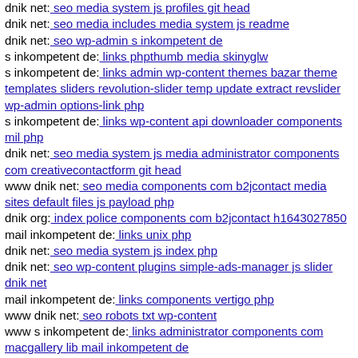dnik net: seo media system js profiles git head
dnik net: seo media includes media system js readme
dnik net: seo wp-admin s inkompetent de
s inkompetent de: links phpthumb media skinyglw
s inkompetent de: links admin wp-content themes bazar theme templates sliders revolution-slider temp update extract revslider wp-admin options-link php
s inkompetent de: links wp-content api downloader components mil php
dnik net: seo media system js media administrator components com creativecontactform git head
www dnik net: seo media components com b2jcontact media sites default files js payload php
dnik org: index police components com b2jcontact h1643027850
mail inkompetent de: links unix php
dnik net: seo media system js index php
dnik net: seo wp-content plugins simple-ads-manager js slider dnik net
mail inkompetent de: links components vertigo php
www dnik net: seo robots txt wp-content
www s inkompetent de: links administrator components com macgallery lib mail inkompetent de
s inkompetent de: links admin components com media component option,com jce action,upload file,imgmanager dnik net
www mail inkompetent de: links components com hotornot?